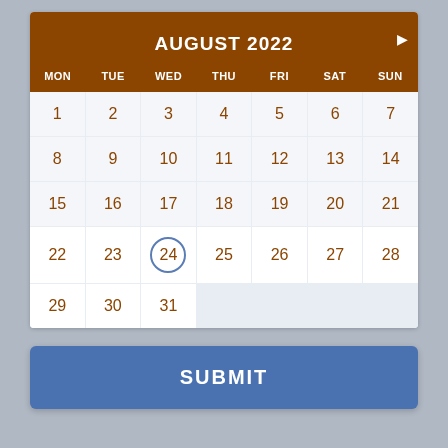| MON | TUE | WED | THU | FRI | SAT | SUN |
| --- | --- | --- | --- | --- | --- | --- |
| 1 | 2 | 3 | 4 | 5 | 6 | 7 |
| 8 | 9 | 10 | 11 | 12 | 13 | 14 |
| 15 | 16 | 17 | 18 | 19 | 20 | 21 |
| 22 | 23 | 24 | 25 | 26 | 27 | 28 |
| 29 | 30 | 31 |  |  |  |  |
SUBMIT